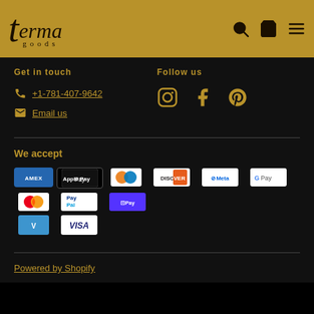[Figure (logo): Terma Goods logo on gold/brown header bar with search, cart, and menu icons]
Get in touch
+1-781-407-9642
Email us
Follow us
[Figure (illustration): Social media icons: Instagram, Facebook, Pinterest in gold]
We accept
[Figure (illustration): Payment method badges: Amex, Apple Pay, Diners Club, Discover, Meta Pay, Google Pay, Mastercard, PayPal, Shop Pay, Venmo, Visa]
Powered by Shopify